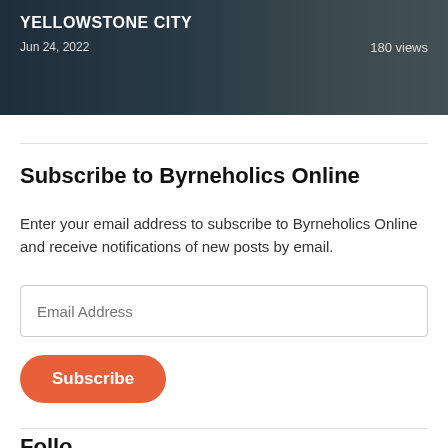[Figure (photo): Partial image of Yellowstone City with dark overlay, showing title text 'YELLOWSTONE CITY', date 'Jun 24, 2022', and view count '180 views']
Subscribe to Byrneholics Online
Enter your email address to subscribe to Byrneholics Online and receive notifications of new posts by email.
Email Address
Subscribe
Follow